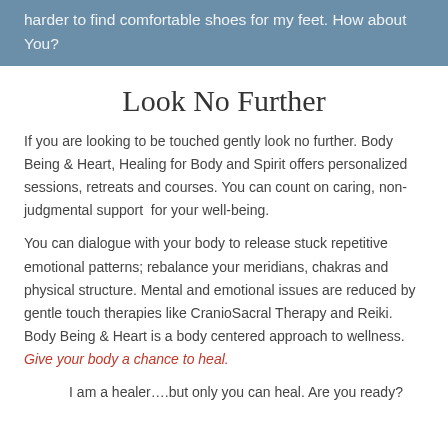harder to find comfortable shoes for my feet. How about You?
Look No Further
If you are looking to be touched gently look no further. Body Being & Heart, Healing for Body and Spirit offers personalized sessions, retreats and courses. You can count on caring, non-judgmental support  for your well-being.
You can dialogue with your body to release stuck repetitive emotional patterns; rebalance your meridians, chakras and physical structure. Mental and emotional issues are reduced by gentle touch therapies like CranioSacral Therapy and Reiki. Body Being & Heart is a body centered approach to wellness. Give your body a chance to heal.
I am a healer….but only you can heal. Are you ready?